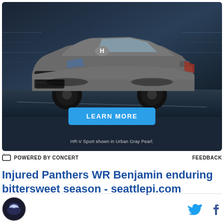[Figure (photo): Honda HR-V Sport SUV advertisement in dark blue background with 'LEARN MORE' button. Car shown in Urban Gray Pearl color on a road with motion blur background.]
HR-V Sport shown in Urban Gray Pearl.
⊟ POWERED BY CONCERT    FEEDBACK
Injured Panthers WR Benjamin enduring bittersweet season - seattlepi.com